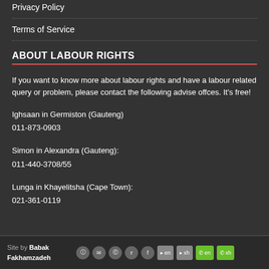Privacy Policy
Terms of Service
ABOUT LABOUR RIGHTS
If you want to know more about labour rights and have a labour related query or problem, please contact the following advise offces. It's free!
Ighsaan in Germiston (Gauteng)
011-873-0903
Simon in Alexandra (Gauteng):
011-440-3708/55
Lunga in Khayelitsha (Cape Town):
021-361-0119
Site by Babak Fakhamzadeh